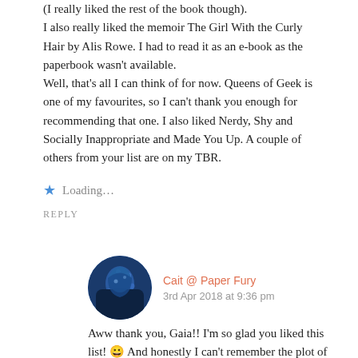(I really liked the rest of the book though). I also really liked the memoir The Girl With the Curly Hair by Alis Rowe. I had to read it as an e-book as the paperbook wasn't available. Well, that's all I can think of for now. Queens of Geek is one of my favourites, so I can't thank you enough for recommending that one. I also liked Nerdy, Shy and Socially Inappropriate and Made You Up. A couple of others from your list are on my TBR.
Loading...
REPLY
Cait @ Paper Fury
3rd Apr 2018 at 9:36 pm
Aww thank you, Gaia!! I'm so glad you liked this list! 😀 And honestly I can't remember the plot of